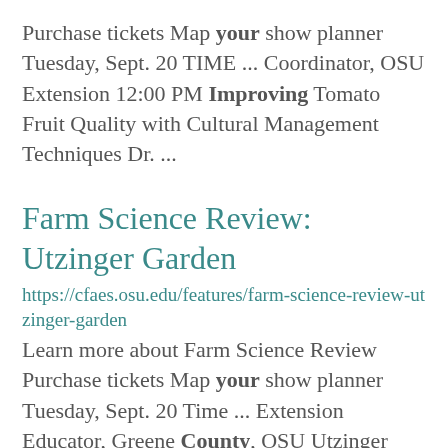Purchase tickets Map your show planner Tuesday, Sept. 20 TIME ... Coordinator, OSU Extension 12:00 PM Improving Tomato Fruit Quality with Cultural Management Techniques Dr. ...
Farm Science Review: Utzinger Garden
https://cfaes.osu.edu/features/farm-science-review-utzinger-garden
Learn more about Farm Science Review Purchase tickets Map your show planner Tuesday, Sept. 20 Time ... Extension Educator, Greene County, OSU Utzinger Gazebo 11:00 am Pumpkin Production